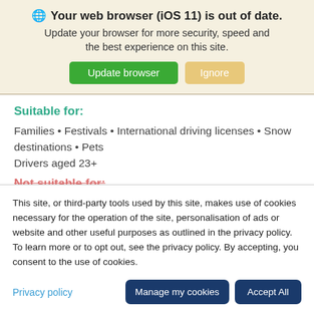Your web browser (iOS 11) is out of date. Update your browser for more security, speed and the best experience on this site.
Suitable for:
Families • Festivals • International driving licenses • Snow destinations • Pets
Drivers aged 23+
Not suitable for:
This site, or third-party tools used by this site, makes use of cookies necessary for the operation of the site, personalisation of ads or website and other useful purposes as outlined in the privacy policy. To learn more or to opt out, see the privacy policy. By accepting, you consent to the use of cookies.
Privacy policy